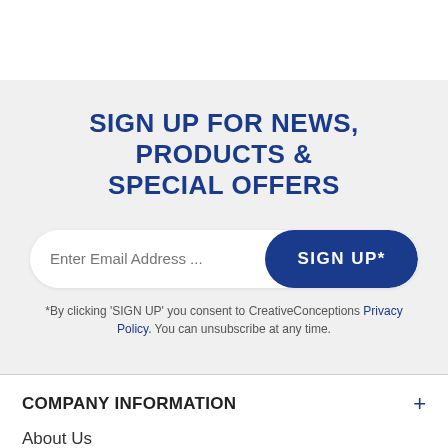SIGN UP FOR NEWS, PRODUCTS & SPECIAL OFFERS
*By clicking 'SIGN UP' you consent to CreativeConceptions Privacy Policy. You can unsubscribe at any time.
COMPANY INFORMATION
About Us